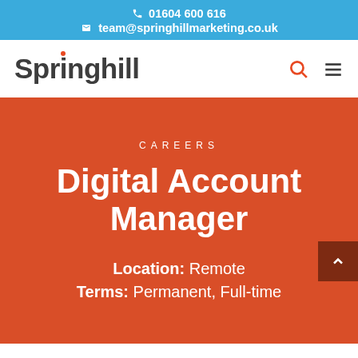📞 01604 600 616
✉ team@springhillmarketing.co.uk
[Figure (logo): Springhill marketing logo with orange dot on letter i]
CAREERS
Digital Account Manager
Location: Remote
Terms: Permanent, Full-time